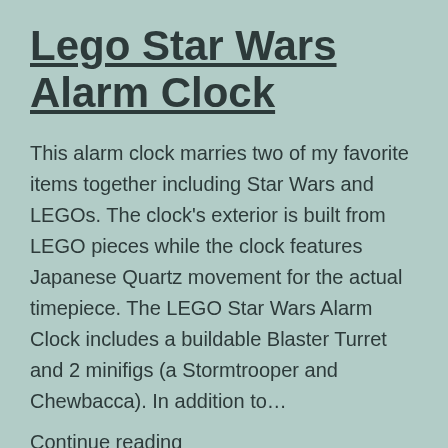Lego Star Wars Alarm Clock
This alarm clock marries two of my favorite items together including Star Wars and LEGOs. The clock’s exterior is built from LEGO pieces while the clock features Japanese Quartz movement for the actual timepiece. The LEGO Star Wars Alarm Clock includes a buildable Blaster Turret and 2 minifigs (a Stormtrooper and Chewbacca). In addition to…
Continue reading